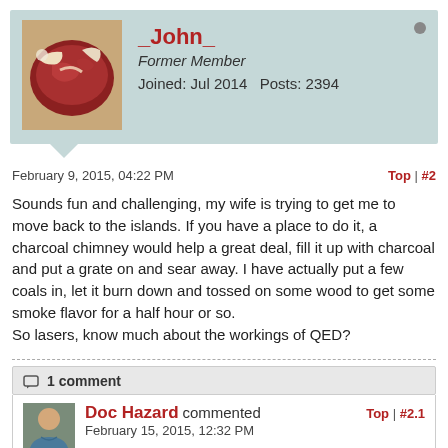[Figure (photo): Avatar image of a raw ribeye steak on brown paper]
_John_
Former Member
Joined: Jul 2014   Posts: 2394
February 9, 2015, 04:22 PM
Top | #2
Sounds fun and challenging, my wife is trying to get me to move back to the islands. If you have a place to do it, a charcoal chimney would help a great deal, fill it up with charcoal and put a grate on and sear away. I have actually put a few coals in, let it burn down and tossed on some wood to get some smoke flavor for a half hour or so.
So lasers, know much about the workings of QED?
1 comment
[Figure (photo): Avatar of Doc Hazard]
Doc Hazard commented
February 15, 2015, 12:32 PM
Top | #2.1
I might be able to manage a chimney; good idea. I know what QED stands for, but most lasers, thankfully, don't really depend on the details of QED, so I haven't delved into it